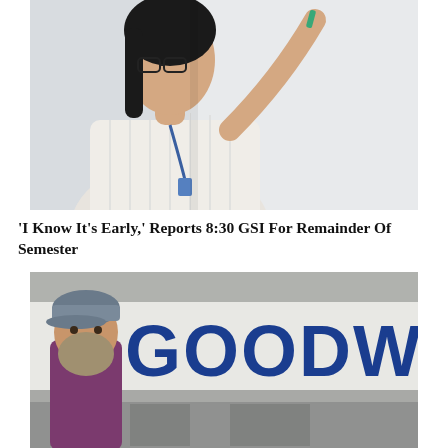[Figure (photo): A woman with glasses writing on a whiteboard, reaching up with a marker, wearing a white striped short-sleeve shirt with a lanyard.]
'I Know It's Early,' Reports 8:30 GSI For Remainder Of Semester
[Figure (photo): An older bearded man wearing a baseball cap and purple shirt standing in front of a Goodwill store sign.]